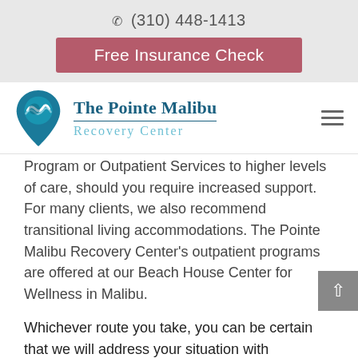☎ (310) 448-1413
Free Insurance Check
[Figure (logo): The Pointe Malibu Recovery Center logo — teal map-pin icon with wave, text 'The Pointe Malibu Recovery Center']
Program or Outpatient Services to higher levels of care, should you require increased support. For many clients, we also recommend transitional living accommodations. The Pointe Malibu Recovery Center's outpatient programs are offered at our Beach House Center for Wellness in Malibu.
Whichever route you take, you can be certain that we will address your situation with